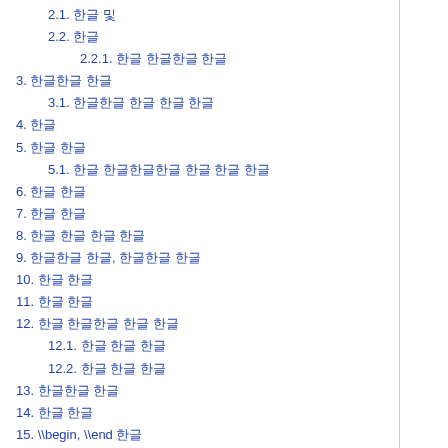2.1. 한글 및
2.2. 한글
2.2.1. 한글 한글한글 한글
3. 한글한글 한글
3.1. 한글한글 한글 한글 한글
4. 한글
5. 한글 한글
5.1. 한글 한글한글한글 한글 한글 한글
6. 한글 한글
7. 한글 한글
8. 한글 한글 한글 한글
9. 한글한글 한글, 한글한글 한글
10. 한글 한글
11. 한글 한글
12. 한글 한글한글 한글 한글
12.1. 한글 한글 한글
12.2. 한글 한글 한글
13. 한글한글 한글
14. 한글 한글
15. \\begin, \\end 한글
16. 한글 한
17. 한글